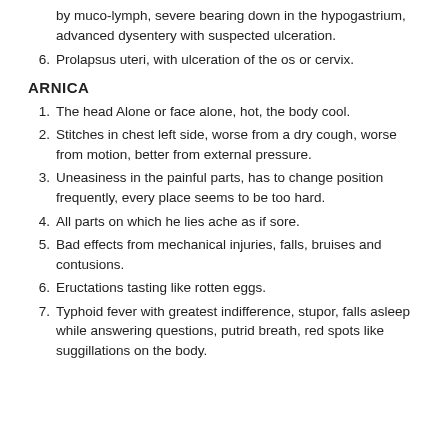by muco-lymph, severe bearing down in the hypogastrium, advanced dysentery with suspected ulceration.
6. Prolapsus uteri, with ulceration of the os or cervix.
ARNICA
1. The head Alone or face alone, hot, the body cool.
2. Stitches in chest left side, worse from a dry cough, worse from motion, better from external pressure.
3. Uneasiness in the painful parts, has to change position frequently, every place seems to be too hard.
4. All parts on which he lies ache as if sore.
5. Bad effects from mechanical injuries, falls, bruises and contusions.
6. Eructations tasting like rotten eggs.
7. Typhoid fever with greatest indifference, stupor, falls asleep while answering questions, putrid breath, red spots like suggillations on the body.